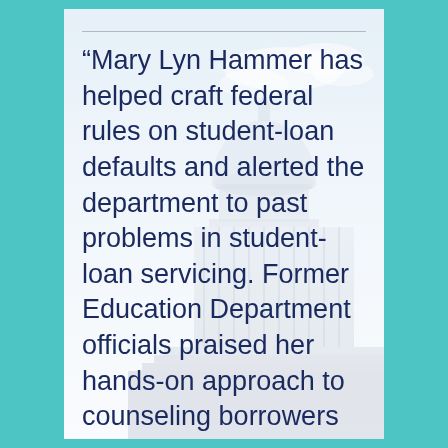[Figure (photo): Background photo of the US Capitol building dome with blue sky and clouds, faded/light watermark style]
“Mary Lyn Hammer has helped craft federal rules on student-loan defaults and alerted the department to past problems in student-loan servicing. Former Education Department officials praised her hands-on approach to counseling borrowers and her detailed knowledge of the student-loan system.”